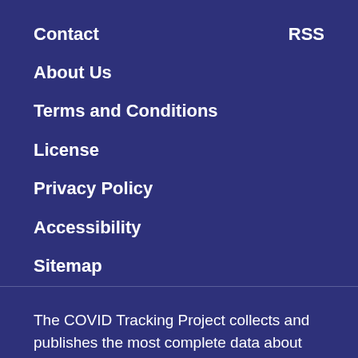Contact
RSS
About Us
Terms and Conditions
License
Privacy Policy
Accessibility
Sitemap
The COVID Tracking Project collects and publishes the most complete data about COVID-19 in the US.